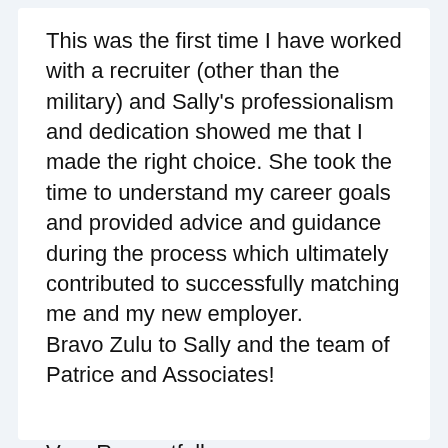This was the first time I have worked with a recruiter (other than the military) and Sally's professionalism and dedication showed me that I made the right choice. She took the time to understand my career goals and provided advice and guidance during the process which ultimately contributed to successfully matching me and my new employer. Bravo Zulu to Sally and the team of Patrice and Associates!
Very Respectfully,